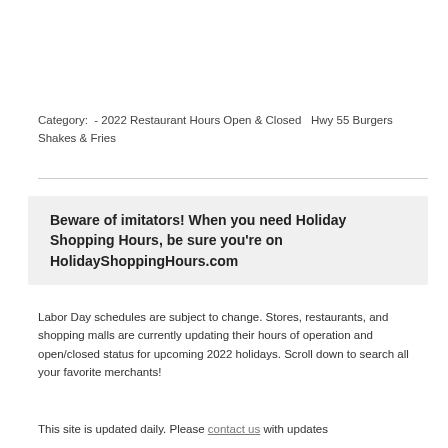Category:  - 2022 Restaurant Hours Open & Closed  Hwy 55 Burgers Shakes & Fries
Beware of imitators! When you need Holiday Shopping Hours, be sure you're on HolidayShoppingHours.com
Labor Day schedules are subject to change. Stores, restaurants, and shopping malls are currently updating their hours of operation and open/closed status for upcoming 2022 holidays. Scroll down to search all your favorite merchants!
This site is updated daily. Please contact us with updates